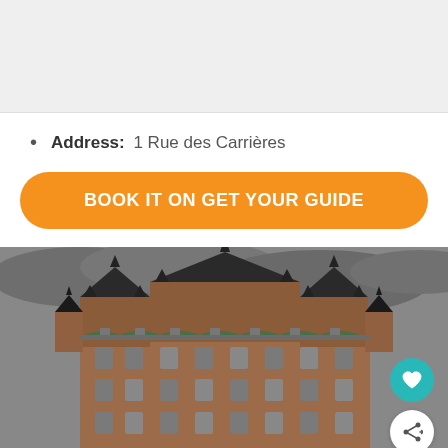[Figure (photo): Top portion of a photo (cropped/scrolled off at top) — gray placeholder area visible]
Address: 1 Rue des Carrières
BOOK IT ON GET YOUR GUIDE
[Figure (photo): Photograph of Château Frontenac in Quebec City — a large castle-like hotel with dark turrets and copper-green roofing against a gray cloudy sky, with brick facade visible]